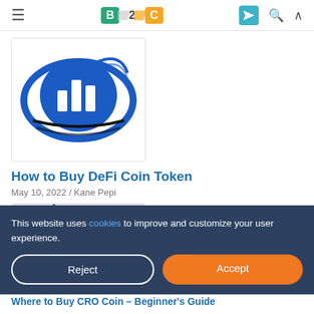B2C navigation bar with logo, hamburger menu, Telegram icon, search icon, and up arrow
[Figure (logo): DeFi Coin logo: blue circular emblem with white bar chart inside, surrounded by swoosh lines on white background]
How to Buy DeFi Coin Token
May 10, 2022 / Kane Pepi
[Figure (illustration): Partial view of a second article image showing dark blue triangular/mountain shape on grey background]
This website uses cookies to improve and customize your user experience.
Reject
Accept
Where to Buy CRO Coin – Beginner's Guide